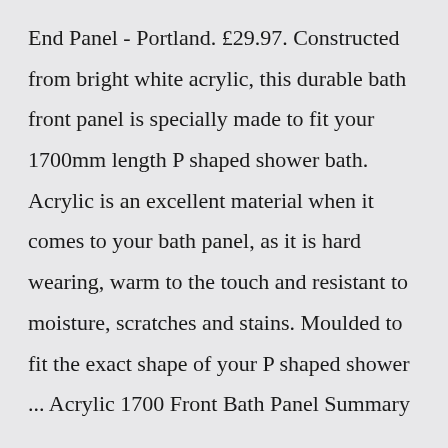End Panel - Portland. £29.97. Constructed from bright white acrylic, this durable bath front panel is specially made to fit your 1700mm length P shaped shower bath. Acrylic is an excellent material when it comes to your bath panel, as it is hard wearing, warm to the touch and resistant to moisture, scratches and stains. Moulded to fit the exact shape of your P shaped shower ... Acrylic 1700 Front Bath Panel Summary